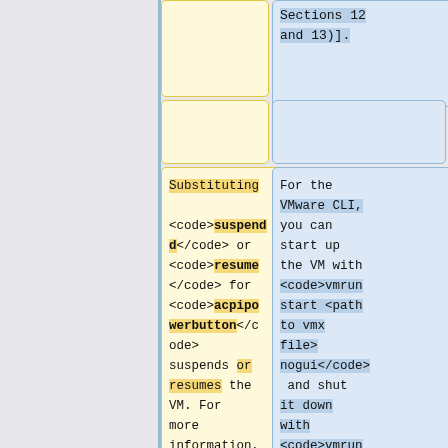Sections 12 and 13)].
Substituting <code>suspend</code> or <code>resume</code> for <code>acpipowerbutton</code> suspends or resumes the VM. For more information, consult [http://www.virtualbox.or...
For the VMware CLI, you can start up the VM with <code>vmrun start <path to vmx file> nogui</code> and shut it down with <code>vmrun stop <path to vmx file> soft...</code>